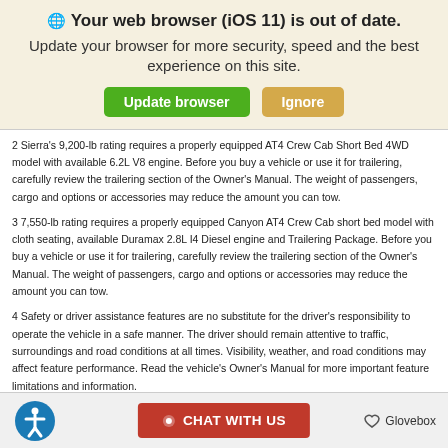🌐 Your web browser (iOS 11) is out of date. Update your browser for more security, speed and the best experience on this site.
2 Sierra's 9,200-lb rating requires a properly equipped AT4 Crew Cab Short Bed 4WD model with available 6.2L V8 engine. Before you buy a vehicle or use it for trailering, carefully review the trailering section of the Owner's Manual. The weight of passengers, cargo and options or accessories may reduce the amount you can tow.
3 7,550-lb rating requires a properly equipped Canyon AT4 Crew Cab short bed model with cloth seating, available Duramax 2.8L I4 Diesel engine and Trailering Package. Before you buy a vehicle or use it for trailering, carefully review the trailering section of the Owner's Manual. The weight of passengers, cargo and options or accessories may reduce the amount you can tow.
4 Safety or driver assistance features are no substitute for the driver's responsibility to operate the vehicle in a safe manner. The driver should remain attentive to traffic, surroundings and road conditions at all times. Visibility, weather, and road conditions may affect feature performance. Read the vehicle's Owner's Manual for more important feature limitations and information.
CHAT WITH US  Glovebox